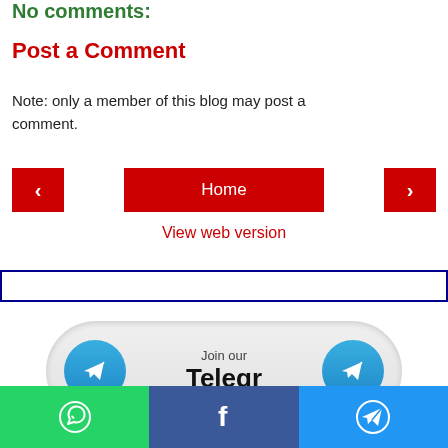No comments:
Post a Comment
Note: only a member of this blog may post a comment.
[Figure (infographic): Navigation bar with back arrow button, Home button, and forward arrow button, all in red]
View web version
[Figure (infographic): Telegram join banner with two Telegram icons and 'Join our Telegr' text on gray rounded button]
[Figure (infographic): Social share bar with WhatsApp (green), Facebook (blue), and Telegram (light blue) icons]